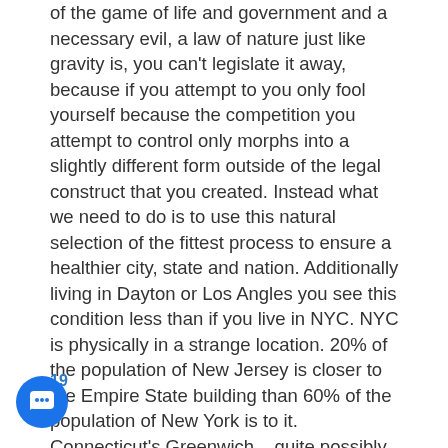of the game of life and government and a necessary evil, a law of nature just like gravity is, you can't legislate it away, because if you attempt to you only fool yourself because the competition you attempt to control only morphs into a slightly different form outside of the legal construct that you created. Instead what we need to do is to use this natural selection of the fittest process to ensure a healthier city, state and nation. Additionally living in Dayton or Los Angles you see this condition less than if you live in NYC. NYC is physically in a strange location. 20% of the population of New Jersey is closer to the Empire State building than 60% of the population of New York is to it. Connecticut's Greenwich – quite possibly the wealthiest town in the nation is one of NYC's premiere bedroom communities. NYC is constantly having World Class and Working Man's Jobs being stolen by the Jersey Cities/Towns of Jersey City, Newark, Fort Lee, Secaucus & Elizabeth – with the Connecticut City/Towns of Greenwich and Stamford stealing their share. Then there's the loss of guys and gals like you and I. Everyday
19